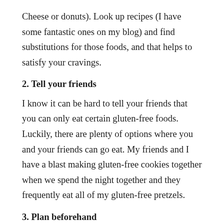Cheese or donuts). Look up recipes (I have some fantastic ones on my blog) and find substitutions for those foods, and that helps to satisfy your cravings.
2. Tell your friends
I know it can be hard to tell your friends that you can only eat certain gluten-free foods. Luckily, there are plenty of options where you and your friends can go eat. My friends and I have a blast making gluten-free cookies together when we spend the night together and they frequently eat all of my gluten-free pretzels.
3. Plan beforehand
If there was only one piece of advice that I could give you, it would be to plan. Planning is so important when